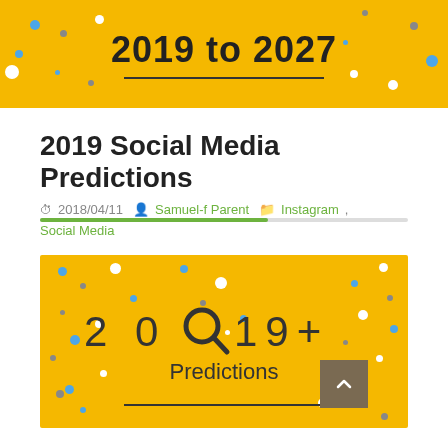2019 to 2027
2019 Social Media Predictions
2018/04/11  Samuel-f Parent  Instagram, Social Media
[Figure (infographic): Yellow background infographic with confetti dots showing '2019+ Predictions' with a magnifying glass icon replacing the zero in 2019, and a horizontal line at the bottom.]